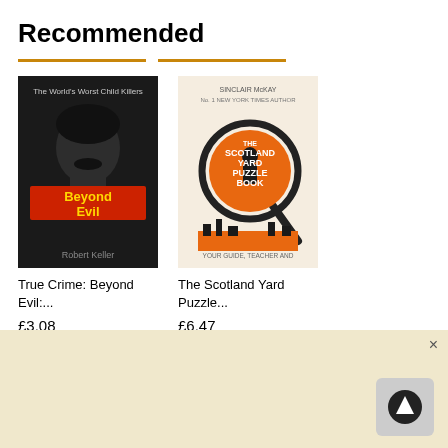Recommended
[Figure (illustration): Book cover: True Crime: Beyond Evil by Robert Keller. Dark cover with a man's face silhouette in shadow, red text 'Beyond Evil', author name at bottom.]
True Crime: Beyond Evil:...
£3.08
Shop now
[Figure (illustration): Book cover: The Scotland Yard Puzzle Book by Sinclair McKay. Light beige cover with orange circle, magnifying glass, silhouette of detective.]
The Scotland Yard Puzzle...
£6.47
Shop now